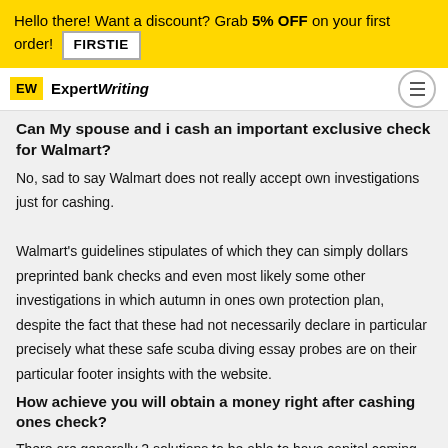Hello there! Want a discount? Grab 5% OFF on your first order! FIRSTIE
EW ExpertWriting
Can My spouse and i cash an important exclusive check for Walmart?
No, sad to say Walmart does not really accept own investigations just for cashing.

Walmart's guidelines stipulates of which they can simply dollars preprinted bank checks and even most likely some other investigations in which autumn in ones own protection plan, despite the fact that these had not necessarily declare in particular precisely what these safe scuba diving essay probes are on their particular footer insights with the website.
How achieve you will obtain a money right after cashing ones check?
There are generally 2 solutions to be able to have capital coming from ones own cashed check.